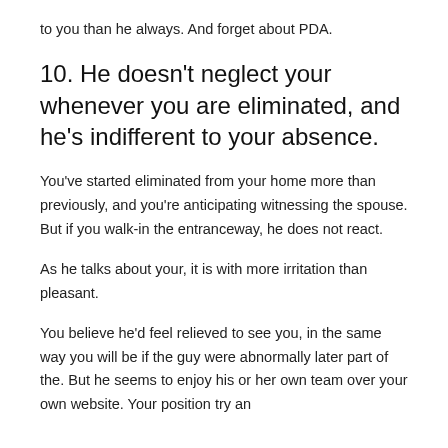to you than he always. And forget about PDA.
10. He doesn't neglect your whenever you are eliminated, and he's indifferent to your absence.
You've started eliminated from your home more than previously, and you're anticipating witnessing the spouse. But if you walk-in the entranceway, he does not react.
As he talks about your, it is with more irritation than pleasant.
You believe he'd feel relieved to see you, in the same way you will be if the guy were abnormally later part of the. But he seems to enjoy his or her own team over your own website. Your position try an